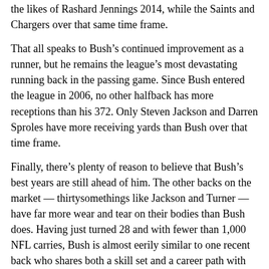the likes of Rashard Jennings 2014, while the Saints and Chargers over that same time frame.
That all speaks to Bush's continued improvement as a runner, but he remains the league's most devastating running back in the passing game. Since Bush entered the league in 2006, no other halfback has more receptions than his 372. Only Steven Jackson and Darren Sproles have more receiving yards than Bush over that time frame.
Finally, there's plenty of reason to believe that Bush's best years are still ahead of him. The other backs on the market — thirtysomethings like Jackson and Turner — have far more wear and tear on their bodies than Bush does. Having just turned 28 and with fewer than 1,000 NFL carries, Bush is almost eerily similar to one recent back who shares both a skill set and a career path with him through the age of 27:
| Player | Att | Rush Yds | Rush TD | Rec | Rec Yds | Rec TD |
| --- | --- | --- | --- | --- | --- | --- |
| Bush | 967 | 4,192 | 29 | 372 | 2,730 | 15 |